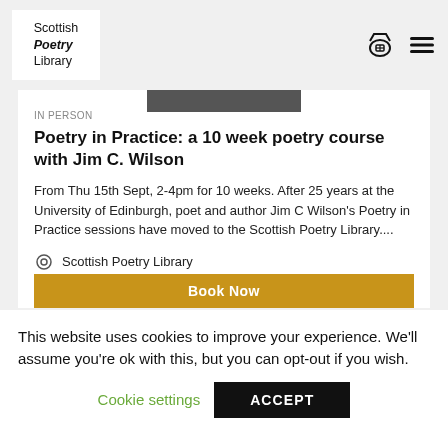Scottish Poetry Library
[Figure (photo): Partial photo of a person, cropped at top of card]
IN PERSON
Poetry in Practice: a 10 week poetry course with Jim C. Wilson
From Thu 15th Sept, 2-4pm for 10 weeks. After 25 years at the University of Edinburgh, poet and author Jim C Wilson's Poetry in Practice sessions have moved to the Scottish Poetry Library....
Scottish Poetry Library
Whole Building
Book Now
This website uses cookies to improve your experience. We'll assume you're ok with this, but you can opt-out if you wish.
Cookie settings
ACCEPT